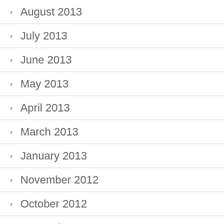August 2013
July 2013
June 2013
May 2013
April 2013
March 2013
January 2013
November 2012
October 2012
September 2012